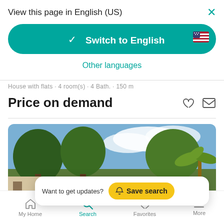View this page in English (US)
[Figure (screenshot): Switch to English button with US flag icon on teal background]
Other languages
House with flats · 4 room(s) · 4 Bath. · 150 m
Price on demand
[Figure (photo): Outdoor photo showing trees and sky, property exterior]
Want to get updates? Save search
My Home   Search   Favorites   More